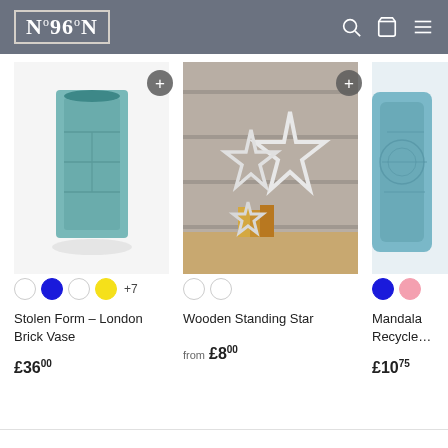N°96oN — e-commerce store header with logo, search, cart, and menu icons
[Figure (photo): Teal ceramic London Brick Vase — rectangular vase with textured brick pattern, mint/teal colour]
Stolen Form – London Brick Vase
£36.00
[Figure (photo): Wooden Standing Star decorations — three white wooden star shapes leaning against a rustic wooden background on a shelf with books]
Wooden Standing Star
from £8.00
[Figure (photo): Mandala Recycled glass — partial view of a blue/teal glass vase with pink swatch, cropped at right edge]
Mandala Recycled…
£10.75